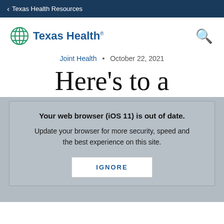Texas Health Resources
[Figure (logo): Texas Health logo with circular globe icon and text 'Texas Health' in blue, plus a search icon on the right]
Joint Health  •  October 22, 2021
Here's to a
Your web browser (iOS 11) is out of date. Update your browser for more security, speed and the best experience on this site.
IGNORE